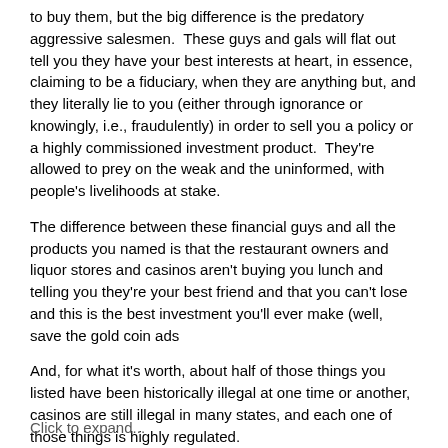to buy them, but the big difference is the predatory aggressive salesmen.  These guys and gals will flat out tell you they have your best interests at heart, in essence, claiming to be a fiduciary, when they are anything but, and they literally lie to you (either through ignorance or knowingly, i.e., fraudulently) in order to sell you a policy or a highly commissioned investment product.  They're allowed to prey on the weak and the uninformed, with people's livelihoods at stake.
The difference between these financial guys and all the products you named is that the restaurant owners and liquor stores and casinos aren't buying you lunch and telling you they're your best friend and that you can't lose and this is the best investment you'll ever make (well, save the gold coin ads
And, for what it's worth, about half of those things you listed have been historically illegal at one time or another, casinos are still illegal in many states, and each one of those things is highly regulated.
Click to expand...